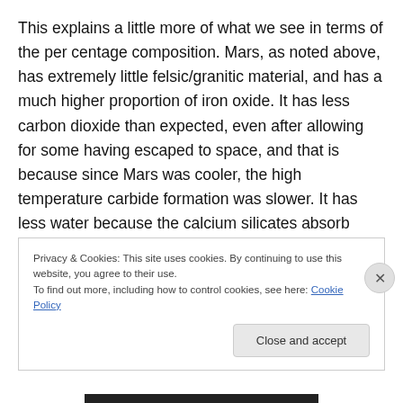This explains a little more of what we see in terms of the per centage composition. Mars, as noted above, has extremely little felsic/granitic material, and has a much higher proportion of iron oxide. It has less carbon dioxide than expected, even after allowing for some having escaped to space, and that is because since Mars was cooler, the high temperature carbide formation was slower. It has less water because the calcium silicates absorb less, although there is an issue here of how much is buried under the surface. The nitrogen is a puzzle. Mars
Privacy & Cookies: This site uses cookies. By continuing to use this website, you agree to their use.
To find out more, including how to control cookies, see here: Cookie Policy